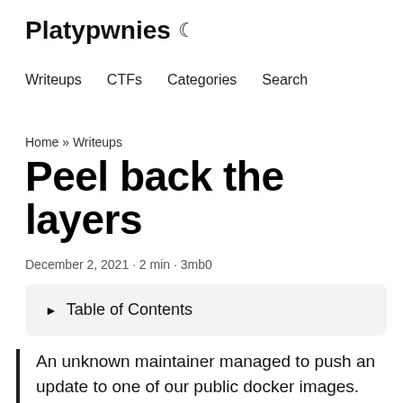Platypwnies 🌙
Writeups  CTFs  Categories  Search
Home » Writeups
Peel back the layers
December 2, 2021 · 2 min · 3mb0
▶ Table of Contents
An unknown maintainer managed to push an update to one of our public docker images. Our SOC team reported suspicious traffic coming